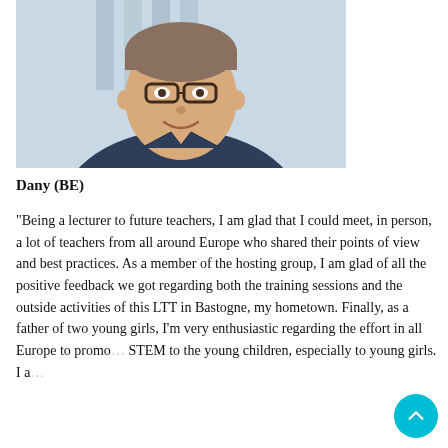[Figure (photo): Portrait photo of a young man with glasses wearing a dark blue shirt, smiling, photographed outdoors against a blurred architectural background.]
Dany (BE)
“Being a lecturer to future teachers, I am glad that I could meet, in person, a lot of teachers from all around Europe who shared their points of view and best practices. As a member of the hosting group, I am glad of all the positive feedback we got regarding both the training sessions and the outside activities of this LTT in Bastogne, my hometown. Finally, as a father of two young girls, I’m very enthusiastic regarding the effort in all Europe to promo… STEM to the young children, especially to young girls. I a… glad that…